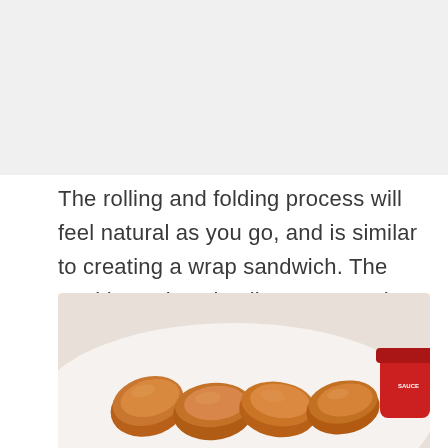[Figure (photo): Top portion of page showing a light gray/white area where a previous image would appear (cropped out in this view).]
The rolling and folding process will feel natural as you go, and is similar to creating a wrap sandwich. The goal is to close in all corners so that the contents don't fall out.
Continue to the end for the full recipe!
[Figure (photo): Photo of golden-brown fried egg rolls arranged on a white plate, with a red dipping sauce container partially visible on the right side.]